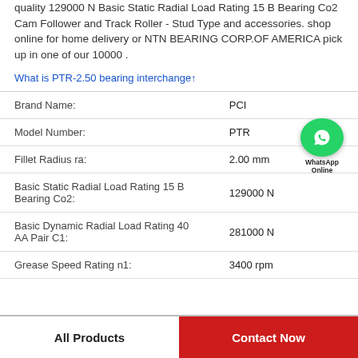quality 129000 N Basic Static Radial Load Rating 15 B Bearing Co2 Cam Follower and Track Roller - Stud Type and accessories. shop online for home delivery or NTN BEARING CORP.OF AMERICA pick up in one of our 10000 .
What is PTR-2.50 bearing interchange↑
| Property | Value |
| --- | --- |
| Brand Name: | PCI |
| Model Number: | PTR... |
| Fillet Radius ra: | 2.00 mm |
| Basic Static Radial Load Rating 15 B Bearing Co2: | 129000 N |
| Basic Dynamic Radial Load Rating 40 AA Pair C1: | 281000 N |
| Grease Speed Rating n1: | 3400 rpm |
[Figure (illustration): WhatsApp contact button - green circle with phone icon and WhatsApp Online label]
All Products
Contact Now